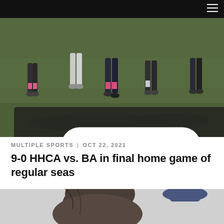[Figure (photo): Football players running on a field during a game, action shot showing legs and cleats, green grass with shadows]
📷 138
MULTIPLE SPORTS | OCT 22, 2021
9-0 HHCA vs. BA in final home game of regular seas
[Figure (photo): Close-up of a person with dark hair from behind, possibly a student or athlete, wearing a cap]